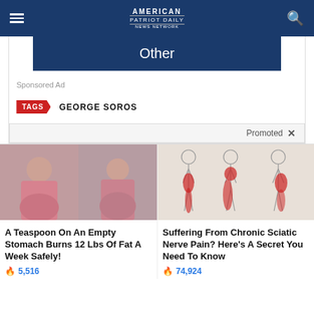AMERICAN PATRIOT DAILY NEWS NETWORK
Other
Sponsored Ad
TAGS  GEORGE SOROS
Promoted
[Figure (photo): Two women in pink pajamas sitting on a couch]
A Teaspoon On An Empty Stomach Burns 12 Lbs Of Fat A Week Safely!
5,516
[Figure (illustration): Medical illustration showing human body outlines with red highlighted areas indicating sciatic nerve pain locations]
Suffering From Chronic Sciatic Nerve Pain? Here's A Secret You Need To Know
74,924